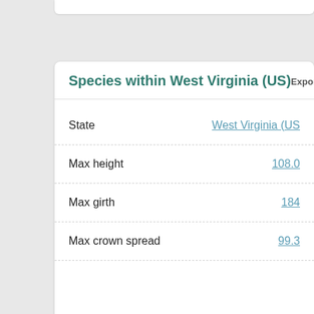Species within West Virginia (US)
Export tree data
| Field | Value |
| --- | --- |
| State | West Virginia (US) |
| Max height | 108.0 |
| Max girth | 184 |
| Max crown spread | 99.3 |